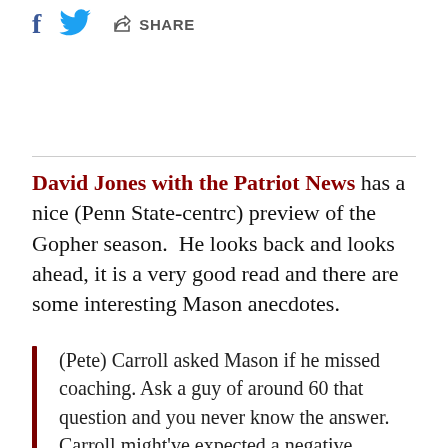[Figure (other): Social sharing bar with Facebook icon, Twitter bird icon, and share button with arrow icon and SHARE text]
David Jones with the Patriot News has a nice (Penn State-centrc) preview of the Gopher season.  He looks back and looks ahead, it is a very good read and there are some interesting Mason anecdotes.
(Pete) Carroll asked Mason if he missed coaching. Ask a guy of around 60 that question and you never know the answer. Carroll might've expected a negative response; many guys are more than ready to get out of the race by then. But Mason said, "Oh,